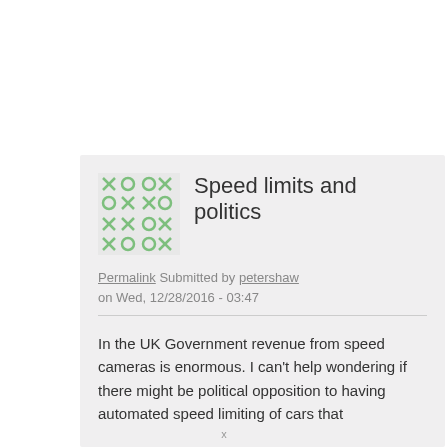Speed limits and politics
Permalink Submitted by petershaw on Wed, 12/28/2016 - 03:47
In the UK Government revenue from speed cameras is enormous. I can't help wondering if there might be political opposition to having automated speed limiting of cars that